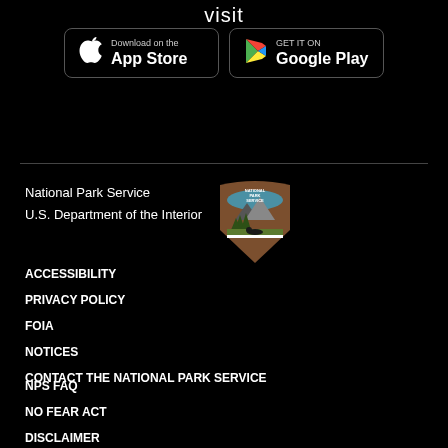visit
[Figure (logo): Download on the App Store button - black background with Apple logo]
[Figure (logo): GET IT ON Google Play button - black background with Google Play triangle logo]
National Park Service
U.S. Department of the Interior
[Figure (logo): National Park Service arrowhead shield logo - brown with green trees, mountains, and bison]
ACCESSIBILITY
PRIVACY POLICY
FOIA
NOTICES
CONTACT THE NATIONAL PARK SERVICE
NPS FAQ
NO FEAR ACT
DISCLAIMER
VULNERABILITY DISCLOSURE STATEMENT